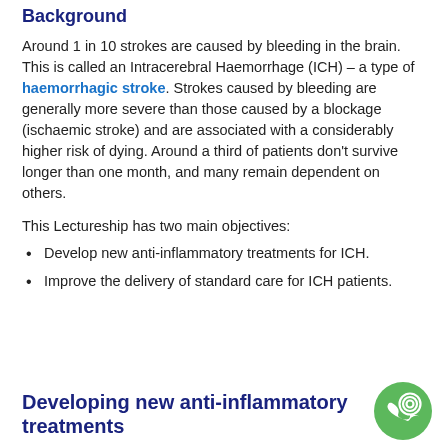Background
Around 1 in 10 strokes are caused by bleeding in the brain. This is called an Intracerebral Haemorrhage (ICH) – a type of haemorrhagic stroke. Strokes caused by bleeding are generally more severe than those caused by a blockage (ischaemic stroke) and are associated with a considerably higher risk of dying. Around a third of patients don't survive longer than one month, and many remain dependent on others.
This Lectureship has two main objectives:
Develop new anti-inflammatory treatments for ICH.
Improve the delivery of standard care for ICH patients.
Developing new anti-inflammatory treatments